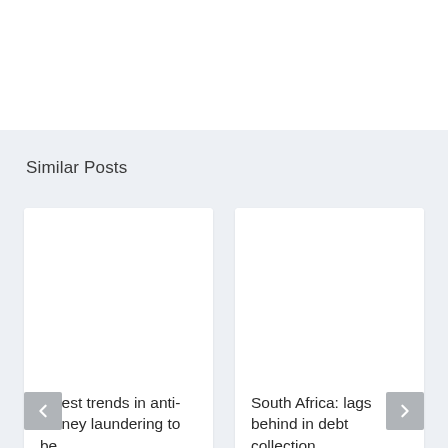Similar Posts
Latest trends in anti-money laundering to be highlighted
South Africa: lags behind in debt collection